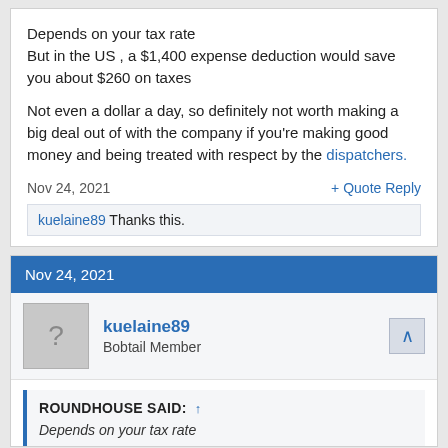Depends on your tax rate
But in the US , a $1,400 expense deduction would save you about $260 on taxes

Not even a dollar a day, so definitely not worth making a big deal out of with the company if you're making good money and being treated with respect by the dispatchers.
Nov 24, 2021
+ Quote  Reply
kuelaine89 Thanks this.
Nov 24, 2021
kuelaine89
Bobtail Member
ROUNDHOUSE SAID: ↑
Depends on your tax rate